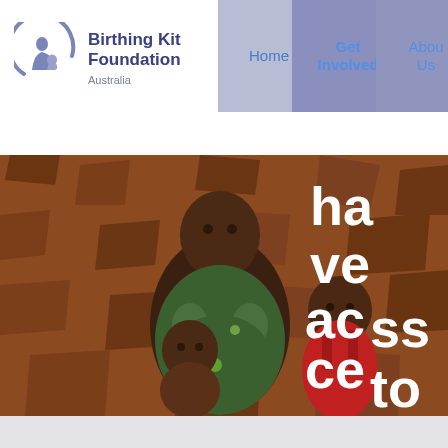[Figure (logo): Birthing Kit Foundation Australia logo with circular mother-and-child motif in blue-grey tones]
Birthing Kit Foundation Australia
[Figure (screenshot): Website navigation bar with three buttons: Home (light purple), Get Involved (medium purple, highlighted), About Us (medium purple)]
[Figure (photo): A African woman holding a baby, with an older child beside her, standing in front of a cracked mud-brick wall. Overlaid bold white text reads: ha ve ac ce ss to]
ha ve ac ce ss to